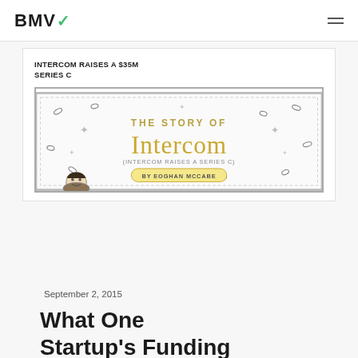BMV
[Figure (illustration): Illustrated book/card cover styled like a banknote. Title reads 'THE STORY OF Intercom (INTERCOM RAISES A SERIES C) BY EOGHAN MCCABE' with decorative elements including stars, confetti shapes, and a cartoon figure at the bottom. Above the illustration the text reads: INTERCOM RAISES A $35M SERIES C.]
September 2, 2015
What One Startup's Funding